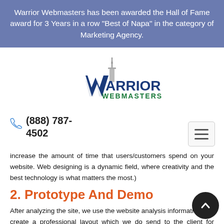Warrior Webmasters has been awarded the Hall of Fame award for 3 Years in a row "Best of Napa" in the category of Marketing Agency.
[Figure (logo): Warrior Webmasters logo with a sword and stylized W letter]
(888) 787-4502
increase the amount of time that users/customers spend on your website. Web designing is a dynamic field, where creativity and the best technology is what matters the most.)
2. Prototype And Demo
After analyzing the site, we use the website analysis information to create a professional layout which we do send to the client for approval. After the client approves the layout, the designing work